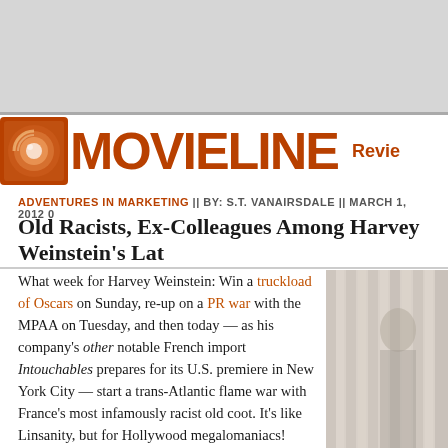MOVIELINE | Reviews
ADVENTURES IN MARKETING || BY: S.T. VANAIRSDALE || MARCH 1, 2012 0
Old Racists, Ex-Colleagues Among Harvey Weinstein's Lat
What week for Harvey Weinstein: Win a truckload of Oscars on Sunday, re-up on a PR war with the MPAA on Tuesday, and then today — as his company's other notable French import Intouchables prepares for its U.S. premiere in New York City — start a trans-Atlantic flame war with France's most infamously racist old coot. It's like Linsanity, but for Hollywood megalomaniacs!
[Figure (photo): Partial photo of a person, cropped on right side of article, curtain or fabric visible in background]